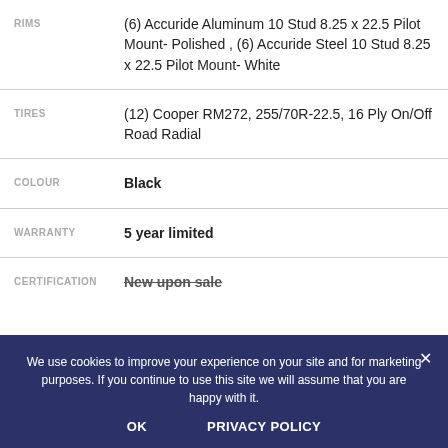| Label | Value |
| --- | --- |
| RIMS | (6) Accuride Aluminum 10 Stud 8.25 x 22.5 Pilot Mount- Polished , (6) Accuride Steel 10 Stud 8.25 x 22.5 Pilot Mount- White |
| TIRES | (12) Cooper RM272, 255/70R-22.5, 16 Ply On/Off Road Radial |
| COLOUR | Black |
| WARRANTY | 5 year limited |
| CERTIFICATION | New upon sale |
We use cookies to improve your experience on your site and for marketing purposes. If you continue to use this site we will assume that you are happy with it.
OK
PRIVACY POLICY